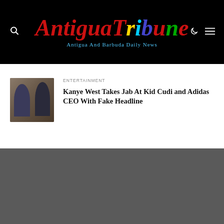Antigua Tribune — Antigua And Barbuda Daily News
ENTERTAINMENT
[Figure (photo): Thumbnail photo of two men, likely Kanye West and Kid Cudi]
Kanye West Takes Jab At Kid Cudi and Adidas CEO With Fake Headline